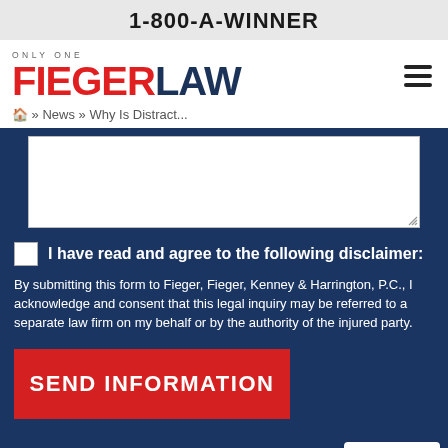1-800-A-WINNER
[Figure (logo): ONLY ONE FIEGERLAW logo with red FIEGER and dark blue LAW text]
» News » Why Is Distract...
I have read and agree to the following disclaimer:
By submitting this form to Fieger, Fieger, Kenney & Harrington, P.C., I acknowledge and consent that this legal inquiry may be referred to a separate law firm on my behalf or by the authority of the injured party.
SEND INFORMATION